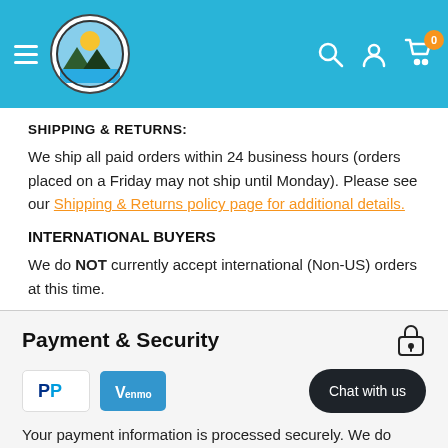Rio Grande Trade - navigation header with logo, search, account, and cart icons
SHIPPING & RETURNS:
We ship all paid orders within 24 business hours (orders placed on a Friday may not ship until Monday). Please see our Shipping & Returns policy page for additional details.
INTERNATIONAL BUYERS
We do NOT currently accept international (Non-US) orders at this time.
Payment & Security
[Figure (logo): PayPal and Venmo payment method logos]
Your payment information is processed securely. We do